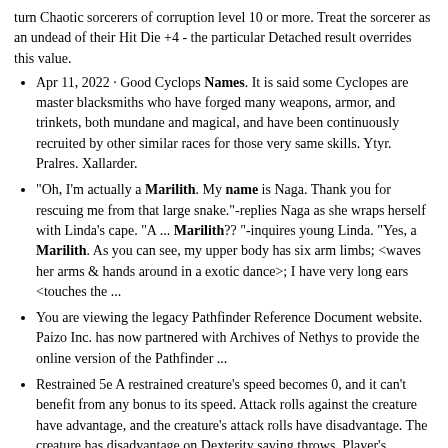turn Chaotic sorcerers of corruption level 10 or more. Treat the sorcerer as an undead of their Hit Die +4 - the particular Detached result overrides this value.
Apr 11, 2022 · Good Cyclops Names. It is said some Cyclopes are master blacksmiths who have forged many weapons, armor, and trinkets, both mundane and magical, and have been continuously recruited by other similar races for those very same skills. Ytyr. Pralres. Xallarder.
"Oh, I'm actually a Marilith. My name is Naga. Thank you for rescuing me from that large snake."-replies Naga as she wraps herself with Linda's cape. "A ... Marilith?? "-inquires young Linda. "Yes, a Marilith. As you can see, my upper body has six arm limbs; <waves her arms & hands around in a exotic dance>; I have very long ears <touches the ...
You are viewing the legacy Pathfinder Reference Document website. Paizo Inc. has now partnered with Archives of Nethys to provide the online version of the Pathfinder ...
Restrained 5e A restrained creature's speed becomes 0, and it can't benefit from any bonus to its speed. Attack rolls against the creature have advantage, and the creature's attack rolls have disadvantage. The creature has disadvantage on Dexterity saving throws. Player's Handbook, pg. 292 Restrained 5e The restrained condition in 5e seems simple, but in